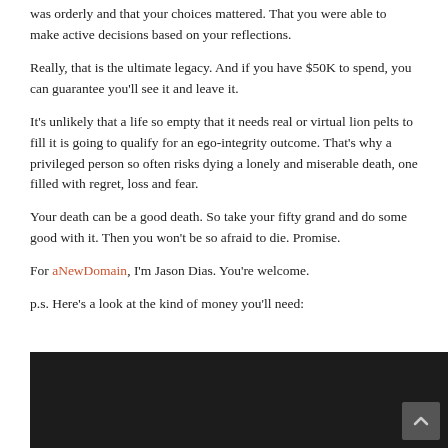was orderly and that your choices mattered. That you were able to make active decisions based on your reflections.
Really, that is the ultimate legacy. And if you have $50K to spend, you can guarantee you'll see it and leave it.
It's unlikely that a life so empty that it needs real or virtual lion pelts to fill it is going to qualify for an ego-integrity outcome. That's why a privileged person so often risks dying a lonely and miserable death, one filled with regret, loss and fear.
Your death can be a good death. So take your fifty grand and do some good with it. Then you won't be so afraid to die. Promise.
For aNewDomain, I'm Jason Dias. You're welcome.
p.s. Here's a look at the kind of money you'll need:
[Figure (screenshot): A dark/black video embed area with a scroll-to-top button in the bottom right corner]